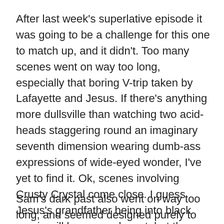After last week's superlative episode it was going to be a challenge for this one to match up, and it didn't. Too many scenes went on way too long, especially that boring V-trip taken by Lafayette and Jesus. If there's anything more dullsville than watching two acid-heads staggering round an imaginary seventh dimension wearing dumb-ass expressions of wide-eyed wonder, I've yet to find it. Ok, scenes involving Crusty Crystal come close. I guess Jesus's grandfather being into black magic will become relevant, but the thought of it makes me tired. Can't Laf and Jes go to the gym and out for a yummy meal and have a nice time together? Do they have to get tangled up in yet another scary storyline?
Sam's dark past also went on way too long, and seemed designed purely to try and justify his out-of-character